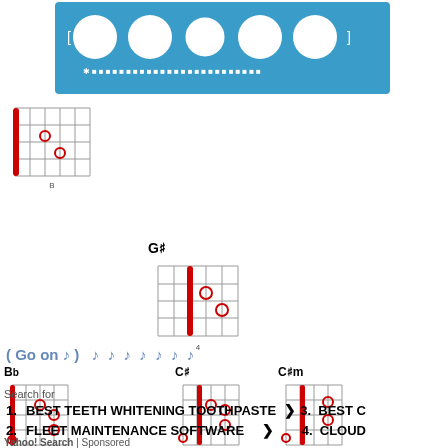[Figure (illustration): Blue banner with 5 circles (4 white filled, 1 outlined) and asterisk text below on blue background]
[Figure (illustration): Small guitar chord diagram in top left]
[Figure (illustration): G# guitar chord diagram]
( Go on ♩ )    ♩  ♩  ♩  ♩  ♩  ♩  ♩
[Figure (illustration): Bb guitar chord diagram]
[Figure (illustration): C# guitar chord diagram]
[Figure (illustration): C#m guitar chord diagram]
Search for
1. BEST TEETH WHITENING TOOTHPASTE
2. FLEET MAINTENANCE SOFTWARE
3. BEST C
4. CLOUD
Yahoo! Search | Sponsored